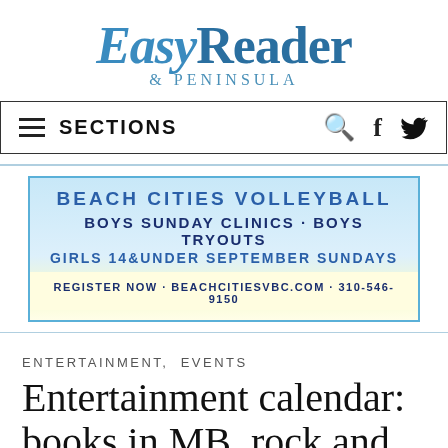Easy Reader & PENINSULA
[Figure (logo): Easy Reader & Peninsula newspaper logo with blue serif text]
SECTIONS
[Figure (infographic): Advertisement for Beach Cities Volleyball: BOYS SUNDAY CLINICS · BOYS TRYOUTS, GIRLS 14&UNDER SEPTEMBER SUNDAYS. REGISTER NOW · BEACHCITIESVBC.COM · 310-546-9150]
ENTERTAINMENT, EVENTS
Entertainment calendar: books in MB, rock and